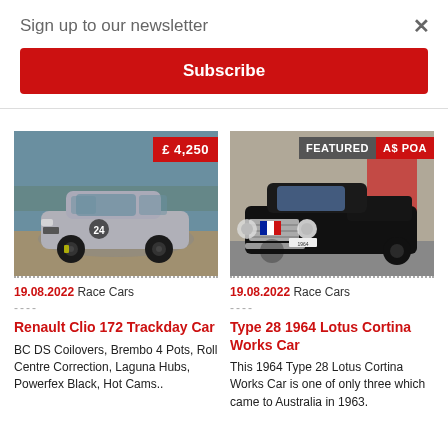Sign up to our newsletter
Subscribe
[Figure (photo): Silver Renault Clio 172 trackday car with black alloy wheels on a race circuit, price badge showing £4,250]
19.08.2022 Race Cars
Renault Clio 172 Trackday Car
BC DS Coilovers, Brembo 4 Pots, Roll Centre Correction, Laguna Hubs, Powerfex Black, Hot Cams..
[Figure (photo): Black 1964 Lotus Cortina Works Car (Type 28) with French flag detail on grille, in indoor setting, badges showing FEATURED and A$ POA]
19.08.2022 Race Cars
Type 28 1964 Lotus Cortina Works Car
This 1964 Type 28 Lotus Cortina Works Car is one of only three which came to Australia in 1963.